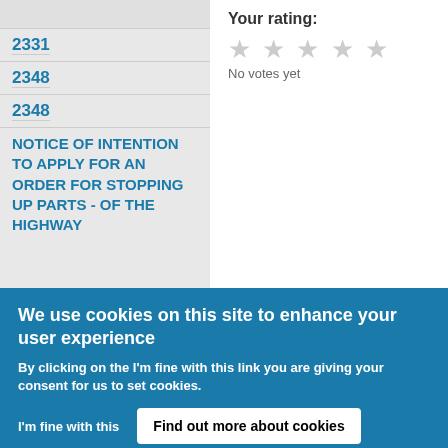2331
2348
2348
NOTICE OF INTENTION TO APPLY FOR AN ORDER FOR STOPPING UP PARTS - OF THE HIGHWAY
Your rating:
No votes yet
We use cookies on this site to enhance your user experience
By clicking on the I'm fine with this link you are giving your consent for us to set cookies.
I'm fine with this
Find out more about cookies